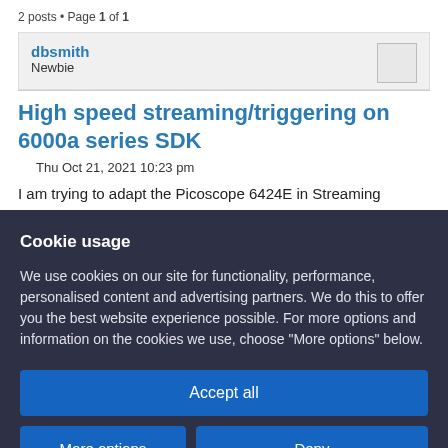2 posts • Page 1 of 1
dbsmith
Newbie
High speed streaming/triggering on 6000a series SDK
Thu Oct 21, 2021 10:23 pm
I am trying to adapt the Picoscope 6424E in Streaming
Cookie usage
We use cookies on our site for functionality, performance, personalised content and advertising partners. We do this to offer you the best website experience possible. For more options and information on the cookies we use, choose "More options" below.
Accept all
More options
Deny